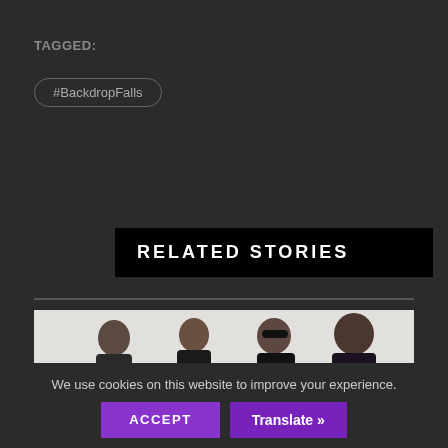TAGGED:
#BackdropFalls
RELATED STORIES
[Figure (photo): Group photo of four men (a band) standing in front of a light-colored background, with drums visible on the right side.]
We use cookies on this website to improve your experience.
ACCEPT
Translate »